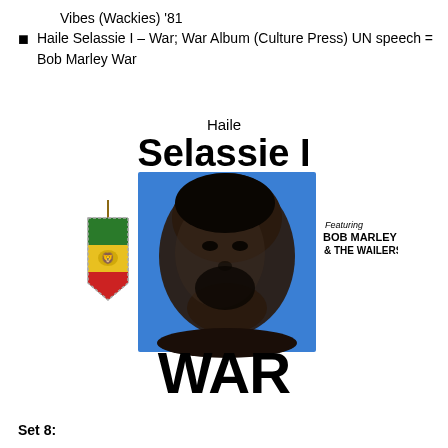Vibes (Wackies) '81
Haile Selassie I – War; War Album (Culture Press) UN speech = Bob Marley War
[Figure (photo): Album cover for 'Haile Selassie I – War' featuring a photo of Haile Selassie I with a blue background, a Rastafarian pennant badge on the left, text 'Haile Selassie I' at the top, 'Featuring BOB MARLEY & THE WAILERS' on the right, and 'WAR' in large bold letters at the bottom.]
Set 8: